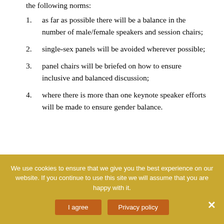the following norms:
as far as possible there will be a balance in the number of male/female speakers and session chairs;
single-sex panels will be avoided wherever possible;
panel chairs will be briefed on how to ensure inclusive and balanced discussion;
where there is more than one keynote speaker efforts will be made to ensure gender balance.
Alex and Alvise
We use cookies to ensure that we give you the best experience on our website. If you continue to use this site we will assume that you are happy with it.